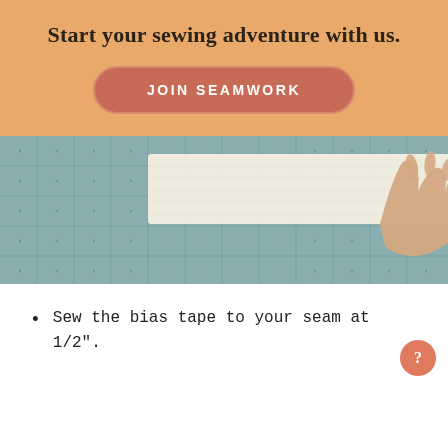Start your sewing adventure with us.
JOIN SEAMWORK
[Figure (photo): A hand pressing a strip of cream/white fabric onto a blue-green cutting mat with a grid pattern.]
Sew the bias tape to your seam at 1/2".